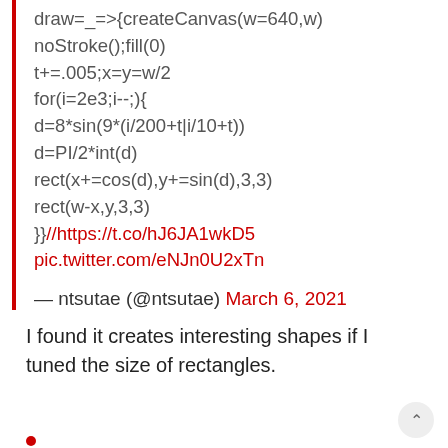draw=_=>{createCanvas(w=640,w)
noStroke();fill(0)
t+=.005;x=y=w/2
for(i=2e3;i--;){
d=8*sin(9*(i/200+t|i/10+t))
d=PI/2*int(d)
rect(x+=cos(d),y+=sin(d),3,3)
rect(w-x,y,3,3)
}}//https://t.co/hJ6JA1wkD5
pic.twitter.com/eNJn0U2xTn
— ntsutae (@ntsutae) March 6, 2021
I found it creates interesting shapes if I tuned the size of rectangles.